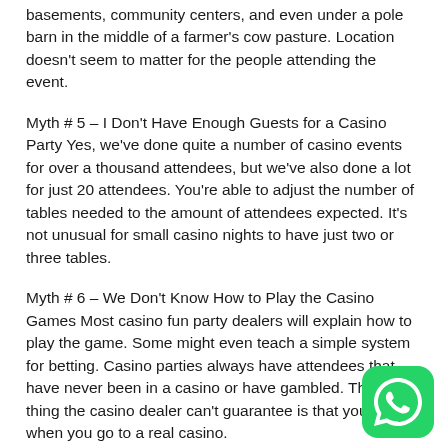basements, community centers, and even under a pole barn in the middle of a farmer's cow pasture. Location doesn't seem to matter for the people attending the event.
Myth # 5 – I Don't Have Enough Guests for a Casino Party Yes, we've done quite a number of casino events for over a thousand attendees, but we've also done a lot for just 20 attendees. You're able to adjust the number of tables needed to the amount of attendees expected. It's not unusual for small casino nights to have just two or three tables.
Myth # 6 – We Don't Know How to Play the Casino Games Most casino fun party dealers will explain how to play the game. Some might even teach a simple system for betting. Casino parties always have attendees that have never been in a casino or have gambled. The only thing the casino dealer can't guarantee is that you'll win when you go to a real casino.
[Figure (logo): WhatsApp logo icon — green rounded square with white phone handset speech bubble]